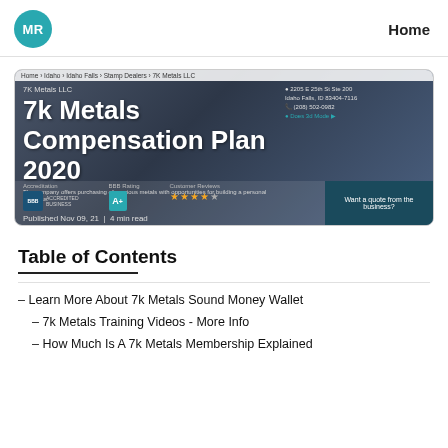MR  Home
[Figure (screenshot): Screenshot of 7k Metals LLC business listing page showing company name, address, BBB rating A+, star reviews, and a 'Want a quote from the business?' panel. Overlaid with title text: '7k Metals Compensation Plan 2020' and 'Published Nov 09, 21 | 4 min read']
Table of Contents
– Learn More About 7k Metals Sound Money Wallet
– 7k Metals Training Videos - More Info
– How Much Is A 7k Metals Membership Explained